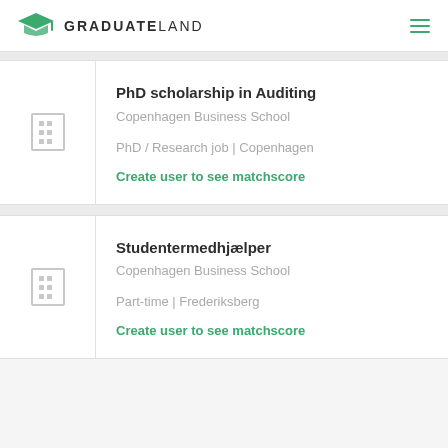GRADUATELAND
PhD scholarship in Auditing
Copenhagen Business School
PhD / Research job | Copenhagen
Create user to see matchscore
Studentermedhjælper
Copenhagen Business School
Part-time | Frederiksberg
Create user to see matchscore